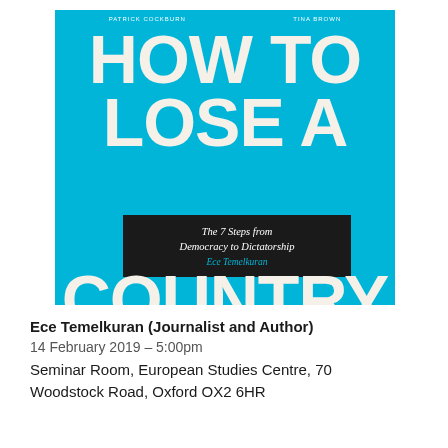[Figure (illustration): Book cover of 'How to Lose a Country: The 7 Steps from Democracy to Dictatorship' by Ece Temelkuran. Bright cyan/turquoise background with large white bold uppercase text reading 'HOW TO LOSE A COUNTRY'. A dark overlay box in the center contains the subtitle 'The 7 Steps from Democracy to Dictatorship' and the author's name 'Ece Temelkuran' in cyan italic text.]
Ece Temelkuran (Journalist and Author)
14 February 2019 – 5:00pm
Seminar Room, European Studies Centre, 70 Woodstock Road, Oxford OX2 6HR